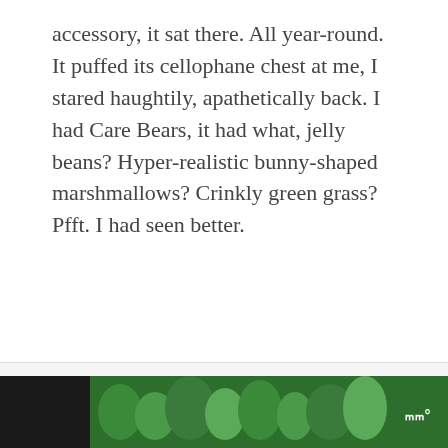accessory, it sat there. All year-round. It puffed its cellophane chest at me, I stared haughtily, apathetically back. I had Care Bears, it had what, jelly beans? Hyper-realistic bunny-shaped marshmallows? Crinkly green grass? Pfft. I had seen better.
[Figure (screenshot): UI elements: like count '71' in pink, white circular heart/like button, pink circular search button, and a dark footer bar with a forest scene showing Smokey Bear character and a logo on the right]
[Figure (photo): Footer area showing a forest illustration with Smokey Bear character wearing a ranger hat, green trees, and a logo mark on the right side on dark background]